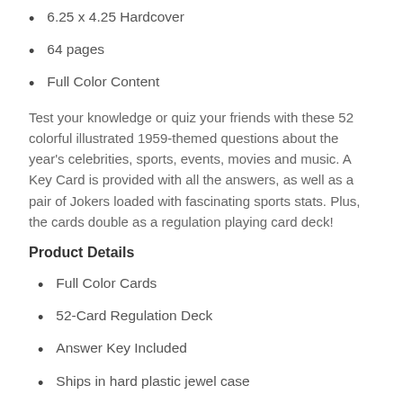6.25 x 4.25  Hardcover
64 pages
Full Color Content
Test your knowledge or quiz your friends with these 52 colorful illustrated 1959-themed questions about the year's celebrities, sports, events, movies and music. A Key Card is provided with all the answers, as well as a pair of Jokers loaded with fascinating sports stats. Plus, the cards double as a regulation playing card deck!
Product Details
Full Color Cards
52-Card Regulation Deck
Answer Key Included
Ships in hard plastic jewel case
COMBO UPC: 092948321118